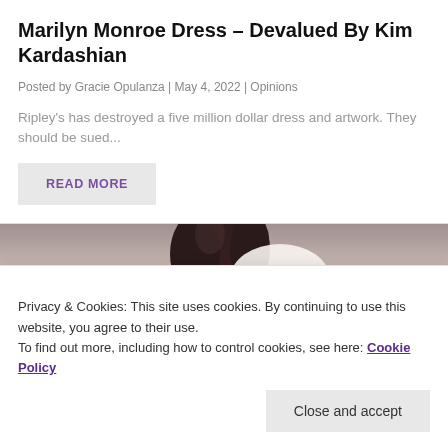Marilyn Monroe Dress – Devalued By Kim Kardashian
Posted by Gracie Opulanza | May 4, 2022 | Opinions
Ripley's has destroyed a five million dollar dress and artwork. They should be sued...
READ MORE
[Figure (photo): Partial photo of a woman in a white lace dress with dark hair, cropped]
Privacy & Cookies: This site uses cookies. By continuing to use this website, you agree to their use.
To find out more, including how to control cookies, see here: Cookie Policy
Close and accept